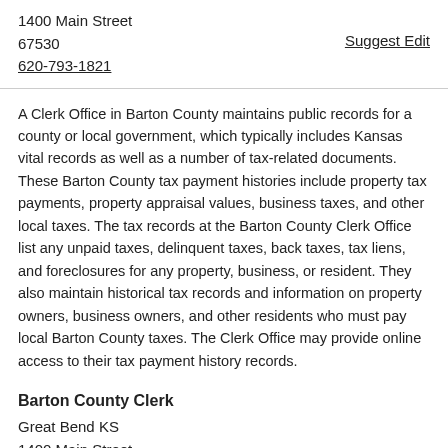1400 Main Street
67530
620-793-1821
Suggest Edit
A Clerk Office in Barton County maintains public records for a county or local government, which typically includes Kansas vital records as well as a number of tax-related documents. These Barton County tax payment histories include property tax payments, property appraisal values, business taxes, and other local taxes. The tax records at the Barton County Clerk Office list any unpaid taxes, delinquent taxes, back taxes, tax liens, and foreclosures for any property, business, or resident. They also maintain historical tax records and information on property owners, business owners, and other residents who must pay local Barton County taxes. The Clerk Office may provide online access to their tax payment history records.
Barton County Clerk
Great Bend KS
1400 Main Street
67530